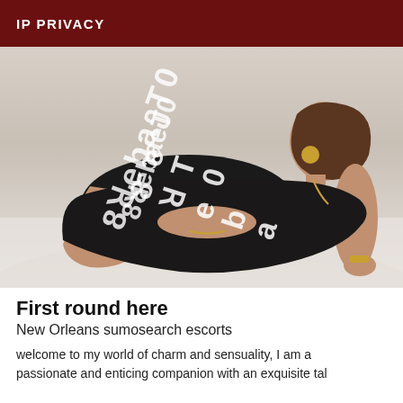IP PRIVACY
[Figure (photo): Woman in black outfit posing on white sand, with watermark text overlaid diagonally]
First round here
New Orleans sumosearch escorts
welcome to my world of charm and sensuality, I am a